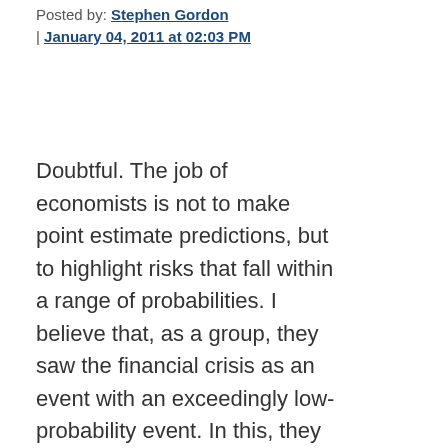Posted by: Stephen Gordon | January 04, 2011 at 02:03 PM
Doubtful. The job of economists is not to make point estimate predictions, but to highlight risks that fall within a range of probabilities. I believe that, as a group, they saw the financial crisis as an event with an exceedingly low-probability event. In this, they were clearly wrong, and not just in hindsight. It was evident from the conditional probabilities I outlined above that there was a material risk of a crisis caused by a plateau in the...